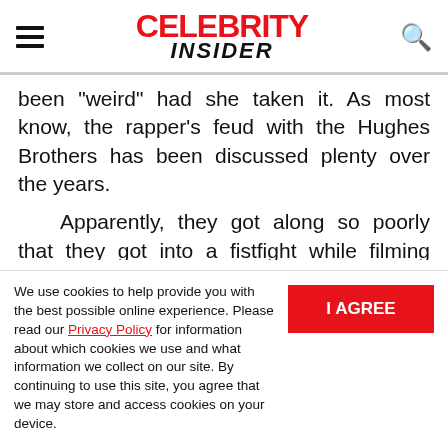CELEBRITY INSIDER
been "weird" had she taken it. As most know, the rapper's feud with the Hughes Brothers has been discussed plenty over the years.
Apparently, they got along so poorly that they got into a fistfight while filming Menace II Society . As most know, Jada has often been in the spotlight for her relationship with T
We use cookies to help provide you with the best possible online experience. Please read our Privacy Policy for information about which cookies we use and what information we collect on our site. By continuing to use this site, you agree that we may store and access cookies on your device.